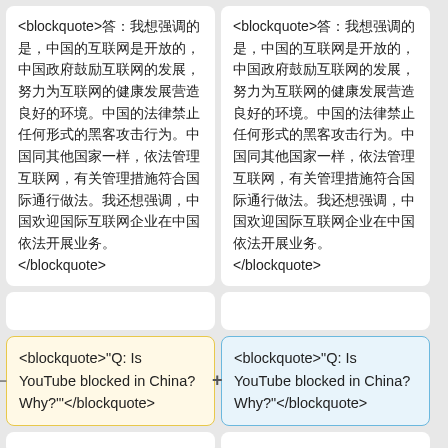<blockquote>答：我想强调的是，中国的互联网是开放的，中国政府鼓励互联网的发展，努力为互联网的健康发展营造良好的环境。中国的法律禁止任何形式的黑客攻击行为。中国同其他国家一样，依法管理互联网，有关管理措施符合国际通行做法。我还想强调，中国欢迎国际互联网企业在中国依法开展业务。</blockquote>
<blockquote>答：我想强调的是，中国的互联网是开放的，中国政府鼓励互联网的发展，努力为互联网的健康发展营造良好的环境。中国的法律禁止任何形式的黑客攻击行为。中国同其他国家一样，依法管理互联网，有关管理措施符合国际通行做法。我还想强调，中国欢迎国际互联网企业在中国依法开展业务。</blockquote>
<blockquote>"Q: Is YouTube blocked in China? Why?"'</blockquote>
<blockquote>"Q: Is YouTube blocked in China? Why?"</blockquote>